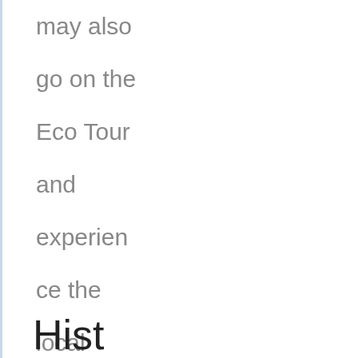may also go on the Eco Tour and experience the local culture first hand as they enjoy the beauty of nature.
Hist